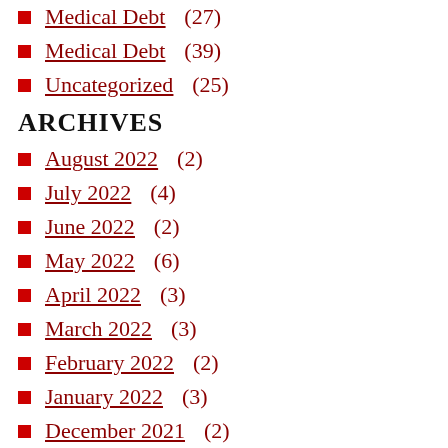Medical Debt (27)
Medical Debt (39)
Uncategorized (25)
ARCHIVES
August 2022 (2)
July 2022 (4)
June 2022 (2)
May 2022 (6)
April 2022 (3)
March 2022 (3)
February 2022 (2)
January 2022 (3)
December 2021 (2)
November 2021 (8)